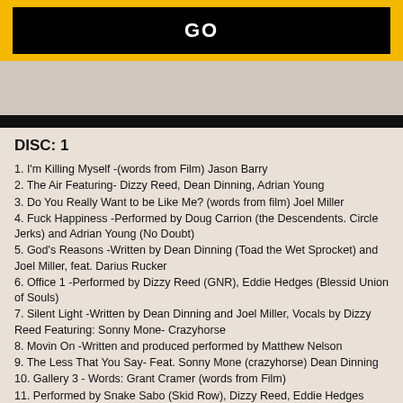GO
DISC: 1
1. I'm Killing Myself -(words from Film) Jason Barry
2. The Air Featuring- Dizzy Reed, Dean Dinning, Adrian Young
3. Do You Really Want to be Like Me? (words from film) Joel Miller
4. Fuck Happiness -Performed by Doug Carrion (the Descendents. Circle Jerks) and Adrian Young (No Doubt)
5. God's Reasons -Written by Dean Dinning (Toad the Wet Sprocket) and Joel Miller, feat. Darius Rucker
6. Office 1 -Performed by Dizzy Reed (GNR), Eddie Hedges (Blessid Union of Souls)
7. Silent Light -Written by Dean Dinning and Joel Miller, Vocals by Dizzy Reed Featuring: Sonny Mone- Crazyhorse
8. Movin On -Written and produced performed by Matthew Nelson
9. The Less That You Say- Feat. Sonny Mone (crazyhorse) Dean Dinning
10. Gallery 3 - Words: Grant Cramer (words from Film)
11. Performed by Snake Sabo (Skid Row), Dizzy Reed, Eddie Hedges